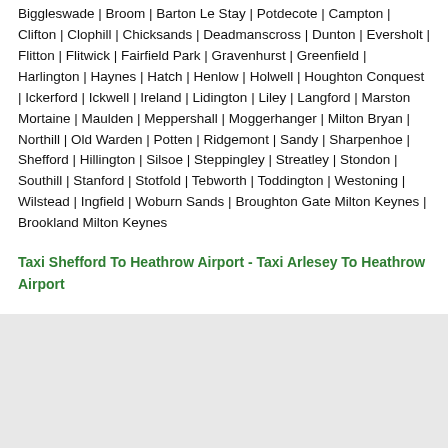Biggleswade | Broom | Barton Le Stay | Potdecote | Campton | Clifton | Clophill | Chicksands | Deadmanscross | Dunton | Eversholt | Flitton | Flitwick | Fairfield Park | Gravenhurst | Greenfield | Harlington | Haynes | Hatch | Henlow | Holwell | Houghton Conquest | Ickerford | Ickwell | Ireland | Lidington | Liley | Langford | Marston Mortaine | Maulden | Meppershall | Moggerhanger | Milton Bryan | Northill | Old Warden | Potten | Ridgemont | Sandy | Sharpenhoe | Shefford | Hillington | Silsoe | Steppingley | Streatley | Stondon | Southill | Stanford | Stotfold | Tebworth | Toddington | Westoning | Wilstead | Ingfield | Woburn Sands | Broughton Gate Milton Keynes | Brookland Milton Keynes
Taxi Shefford To Heathrow Airport - Taxi Arlesey To Heathrow Airport